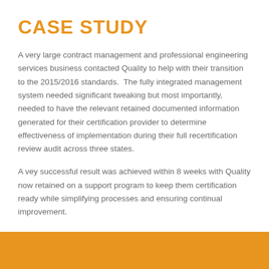CASE STUDY
A very large contract management and professional engineering services business contacted Quality to help with their transition to the 2015/2016 standards.  The fully integrated management system needed significant tweaking but most importantly, needed to have the relevant retained documented information generated for their certification provider to determine effectiveness of implementation during their full recertification review audit across three states.
A vey successful result was achieved within 8 weeks with Quality now retained on a support program to keep them certification ready while simplifying processes and ensuring continual improvement.